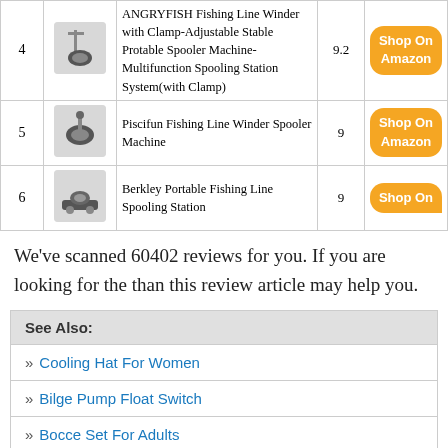| # | Image | Product Name | Score | Link |
| --- | --- | --- | --- | --- |
| 4 | [img] | ANGRYFISH Fishing Line Winder with Clamp-Adjustable Stable Protable Spooler Machine-Multifunction Spooling Station System(with Clamp) | 9.2 | Shop On Amazon |
| 5 | [img] | Piscifun Fishing Line Winder Spooler Machine | 9 | Shop On Amazon |
| 6 | [img] | Berkley Portable Fishing Line Spooling Station | 9 | Shop On |
We've scanned 60402 reviews for you. If you are looking for the than this review article may help you.
See Also:
» Cooling Hat For Women
» Bilge Pump Float Switch
» Bocce Set For Adults